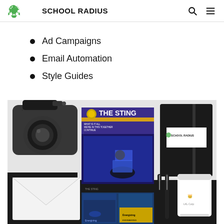School Radius
Ad Campaigns
Email Automation
Style Guides
[Figure (photo): Collage of marketing and branding materials including a DSLR camera, a magazine titled 'The Sting', a black notebook with School Radius logo, pens, a coffee cup with crown logo, an envelope, and printed flyers/brochures on a light speckled surface and black background.]